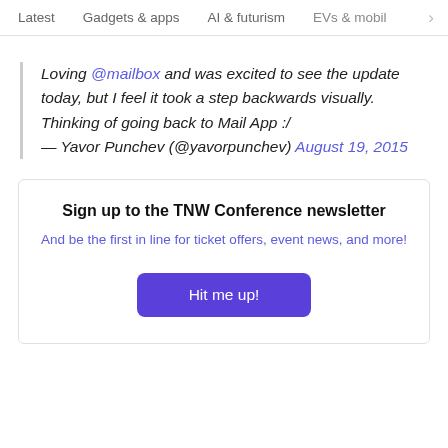Latest   Gadgets & apps   AI & futurism   EVs & mobil  >
Loving @mailbox and was excited to see the update today, but I feel it took a step backwards visually. Thinking of going back to Mail App :/ — Yavor Punchev (@yavorpunchev) August 19, 2015
Sign up to the TNW Conference newsletter
And be the first in line for ticket offers, event news, and more!
Hit me up!